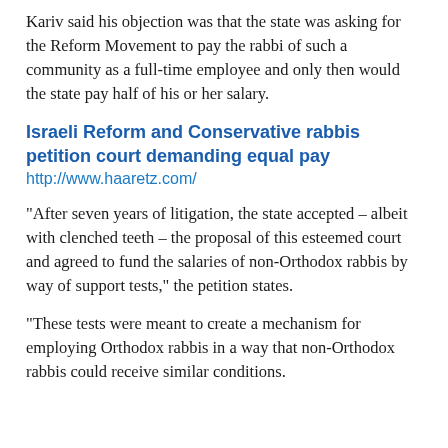Kariv said his objection was that the state was asking for the Reform Movement to pay the rabbi of such a community as a full-time employee and only then would the state pay half of his or her salary.
Israeli Reform and Conservative rabbis petition court demanding equal pay
http://www.haaretz.com/
"After seven years of litigation, the state accepted – albeit with clenched teeth – the proposal of this esteemed court and agreed to fund the salaries of non-Orthodox rabbis by way of support tests," the petition states.
"These tests were meant to create a mechanism for employing Orthodox rabbis in a way that non-Orthodox rabbis could receive similar conditions.